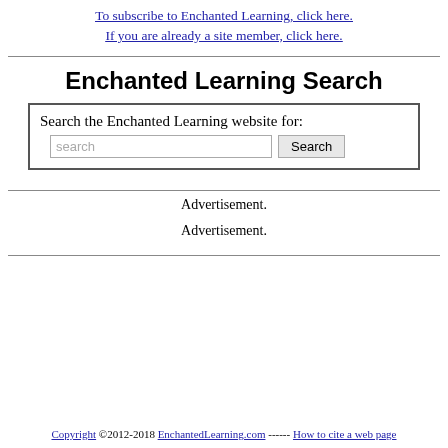To subscribe to Enchanted Learning, click here.
If you are already a site member, click here.
Enchanted Learning Search
Search the Enchanted Learning website for:
Advertisement.
Advertisement.
Copyright ©2012-2018 EnchantedLearning.com ------ How to cite a web page